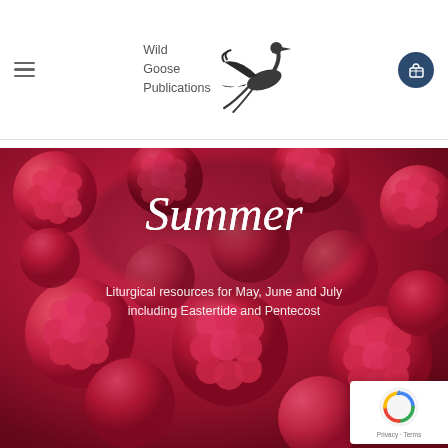Wild Goose Publications
[Figure (illustration): Book cover image showing close-up raspberries in red/pink tones with text overlay: 'Summer – Liturgical resources for May, June and July including Eastertide and Pentecost']